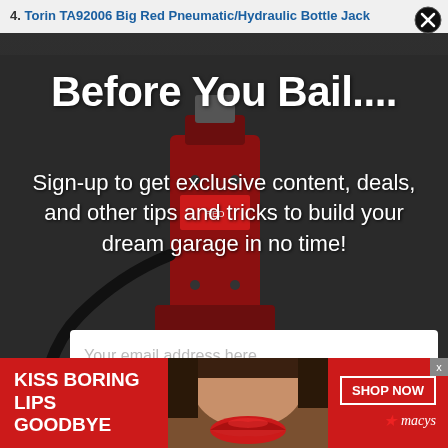4. Torin TA92006 Big Red Pneumatic/Hydraulic Bottle Jack
[Figure (screenshot): Modal popup overlay on dark background showing a red pneumatic/hydraulic bottle jack product image, with email signup form. Below is an advertisement banner reading 'KISS BORING LIPS GOODBYE' with a close-up photo of lips wearing red lipstick, and a 'SHOP NOW / macys' button.]
Before You Bail....
Sign-up to get exclusive content, deals, and other tips and tricks to build your dream garage in no time!
Your email address here...
✓ Sign Up
KISS BORING LIPS GOODBYE
SHOP NOW
★macys